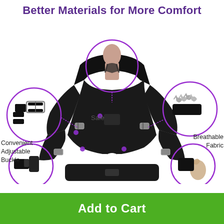Better Materials for More Comfort
[Figure (infographic): Product infographic showing a black posture corrector back brace with callout circles highlighting: a person wearing the brace (Safe), a close-up of the adjustable buckle (Convenient Adjustable Buckle), a close-up of breathable fabric texture (Breathable Fabric), and two bottom detail circles of the brace components. Purple dot connectors link callout circles to the main product.]
Safe
Convenient Adjustable Buckle
Breathable Fabric
Add to Cart